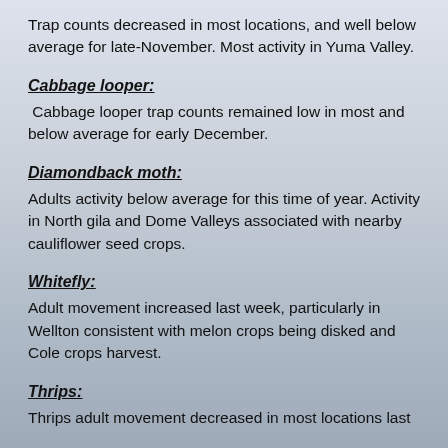Trap counts decreased in most locations, and well below average for late-November. Most activity in Yuma Valley.
Cabbage looper:
Cabbage looper trap counts remained low in most and below average for early December.
Diamondback moth:
Adults activity below average for this time of year. Activity in North gila and Dome Valleys associated with nearby cauliflower seed crops.
Whitefly:
Adult movement increased last week, particularly in Wellton consistent with melon crops being disked and Cole crops harvest.
Thrips:
Thrips adult movement decreased in most locations last